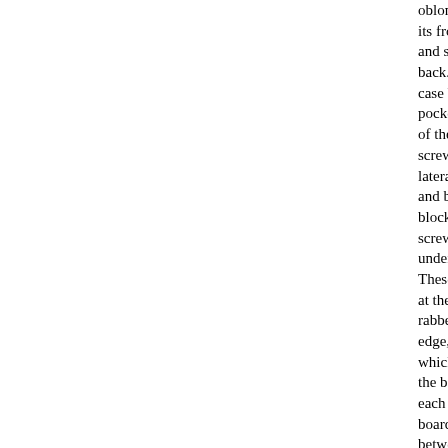oblong top is molde its front and side ed and square-edged in back. It is fixed to it case by four screw pockets in the under of the top rail, by tw screw pockets each lateral transverse bo and by two rectiline blocks, each twice-screwed into the underside of the top. These blocks, cham at their front edges, rabbeted at their bac edge, the forward pa which is tenoned int the backboard. Besi each lateral transver board, at the joints between top and sid are two (the front pr right block is missin rectangular longitud glue blocks. The sin board, straight skirt